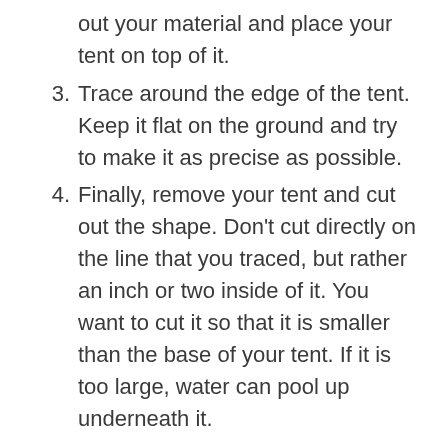out your material and place your tent on top of it.
3. Trace around the edge of the tent. Keep it flat on the ground and try to make it as precise as possible.
4. Finally, remove your tent and cut out the shape. Don’t cut directly on the line that you traced, but rather an inch or two inside of it. You want to cut it so that it is smaller than the base of your tent. If it is too large, water can pool up underneath it.